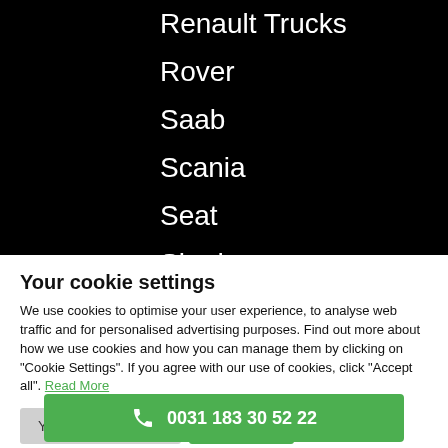Renault Trucks
Rover
Saab
Scania
Seat
Skoda
Your cookie settings
We use cookies to optimise your user experience, to analyse web traffic and for personalised advertising purposes. Find out more about how we use cookies and how you can manage them by clicking on "Cookie Settings". If you agree with our use of cookies, click "Accept all". Read More
Your cookie settings | Accept All
0031 183 30 52 22